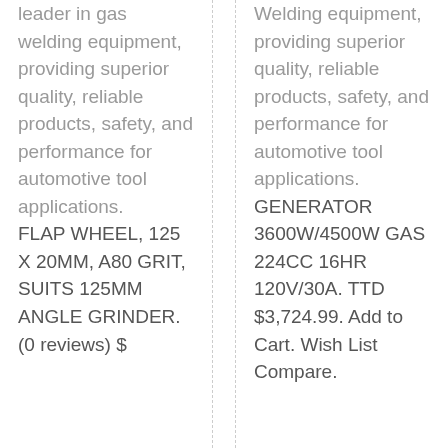leader in gas welding equipment, providing superior quality, reliable products, safety, and performance for automotive tool applications. FLAP WHEEL, 125 X 20MM, A80 GRIT, SUITS 125MM ANGLE GRINDER. (0 reviews) $
Welding equipment, providing superior quality, reliable products, safety, and performance for automotive tool applications. GENERATOR 3600W/4500W GAS 224CC 16HR 120V/30A. TTD $3,724.99. Add to Cart. Wish List Compare.